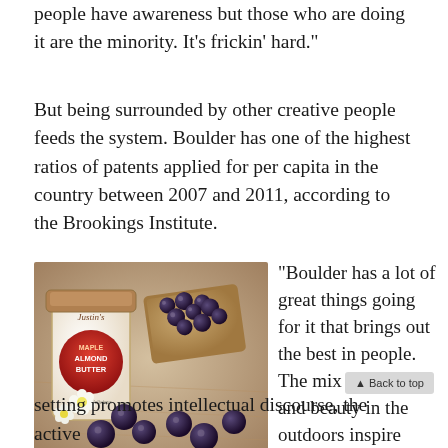people have awareness but those who are doing it are the minority. It’s frickin’ hard.”
But being surrounded by other creative people feeds the system. Boulder has one of the highest ratios of patents applied for per capita in the country between 2007 and 2011, according to the Brookings Institute.
[Figure (photo): Photo of Justin’s Maple Almond Butter jar next to toast spread with almond butter and fresh blueberries scattered on a wooden surface with small white flowers]
“Boulder has a lot of great things going for it that brings out the best in people.  The mix of freedom and beauty in the outdoors inspire creativity, the uni
setting promotes intellectual discourse, the active